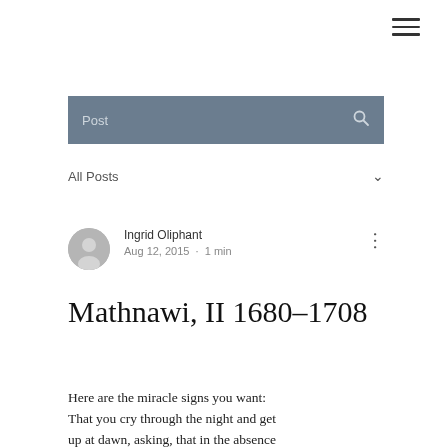☰
Post
All Posts
Ingrid Oliphant
Aug 12, 2015 · 1 min
Mathnawi, II 1680–1708
Here are the miracle signs you want: That you cry through the night and get up at dawn, asking, that in the absence of what you ask for,